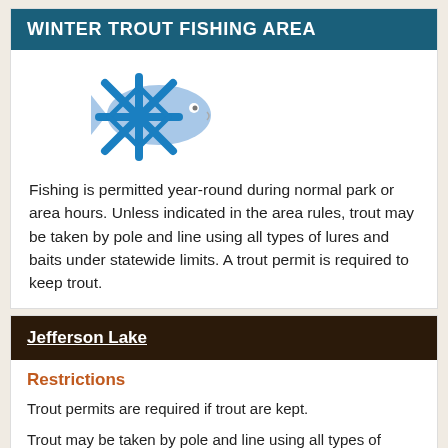WINTER TROUT FISHING AREA
[Figure (illustration): Blue snowflake icon overlapping a light blue fish silhouette]
Fishing is permitted year-round during normal park or area hours. Unless indicated in the area rules, trout may be taken by pole and line using all types of lures and baits under statewide limits. A trout permit is required to keep trout.
Jefferson Lake
Restrictions
Trout permits are required if trout are kept.
Trout may be taken by pole and line using all types of